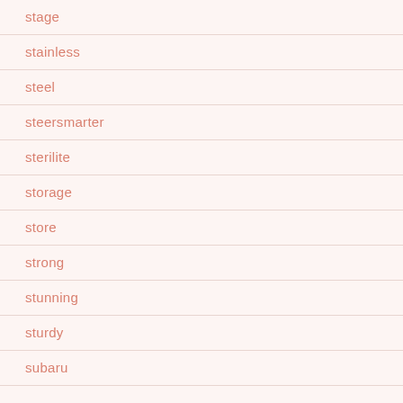stage
stainless
steel
steersmarter
sterilite
storage
store
strong
stunning
sturdy
subaru